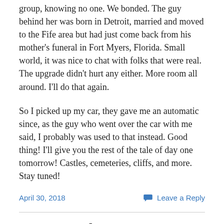group, knowing no one. We bonded. The guy behind her was born in Detroit, married and moved to the Fife area but had just come back from his mother’s funeral in Fort Myers, Florida. Small world, it was nice to chat with folks that were real. The upgrade didn’t hurt any either. More room all around. I’ll do that again.
So I picked up my car, they gave me an automatic since, as the guy who went over the car with me said, I probably was used to that instead. Good thing! I’ll give you the rest of the tale of day one tomorrow! Castles, cemeteries, cliffs, and more. Stay tuned!
April 30, 2018
Leave a Reply
DNA Sales!!